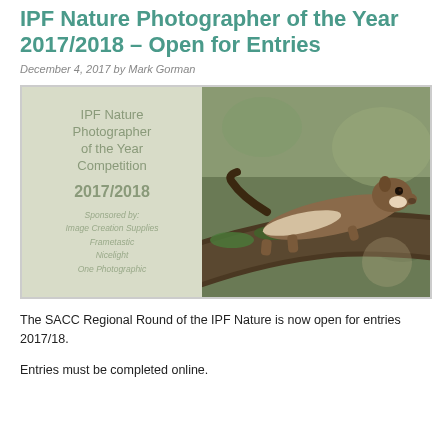IPF Nature Photographer of the Year 2017/2018 – Open for Entries
December 4, 2017 by Mark Gorman
[Figure (photo): Promotional image for IPF Nature Photographer of the Year Competition 2017/2018. Left side shows text on light background: 'IPF Nature Photographer of the Year Competition 2017/2018, Sponsored by: Image Creation Supplies, Frametastic, Nicelight, One Photographic'. Right side shows a weasel/stoat on a mossy branch in a natural outdoor setting.]
The SACC Regional Round of the IPF Nature is now open for entries 2017/18.
Entries must be completed online.